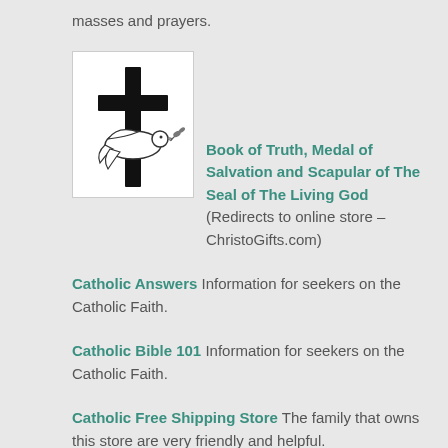masses and prayers.
[Figure (illustration): A black and white illustration of a cross with a dove holding an olive branch at its base, on a white square background.]
Book of Truth, Medal of Salvation and Scapular of The Seal of The Living God (Redirects to online store – ChristoGifts.com)
Catholic Answers Information for seekers on the Catholic Faith.
Catholic Bible 101 Information for seekers on the Catholic Faith.
Catholic Free Shipping Store The family that owns this store are very friendly and helpful.